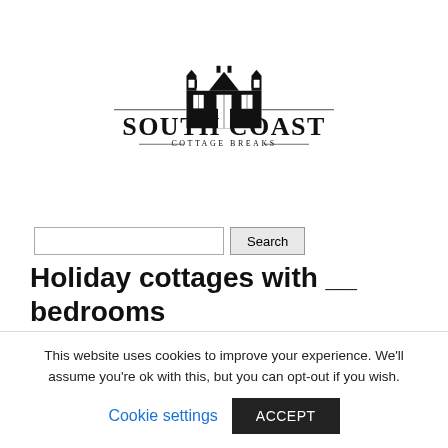[Figure (logo): South Coast Cottage Breaks logo — stylized Victorian building illustration above the text 'SOUTH COAST' in large serif capitals, with 'COTTAGE BREAKS' in smaller spaced capitals below, flanked by horizontal rules]
Holiday cottages with __ bedrooms
This website uses cookies to improve your experience. We'll assume you're ok with this, but you can opt-out if you wish.
Cookie settings   ACCEPT